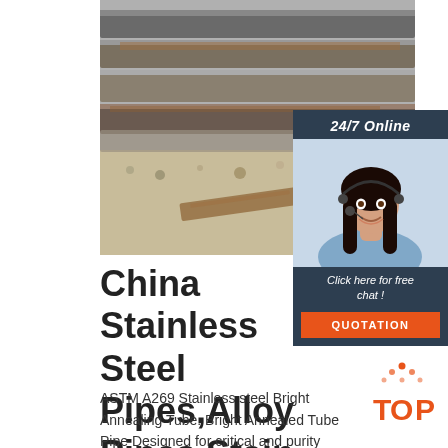[Figure (photo): Stainless steel pipes/plates stacked outdoors on gravel ground]
[Figure (photo): Customer service representative with headset smiling, with 24/7 Online label, Click here for free chat, and QUOTATION button overlay]
China Stainless Steel Pipes,Alloy Pipes,Stainless Steel ...
ASTM A269 Stainless steel Bright Annealing Tube. Bright Annealed Tube Pipe Designed for critical and purity applications such as semiconductor manufacturing. Max Stainless
[Figure (logo): TOP logo with orange triangle of dots and orange text]